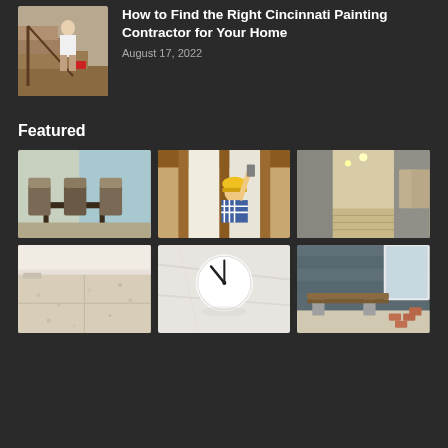[Figure (photo): Person on staircase with paint supplies]
How to Find the Right Cincinnati Painting Contractor for Your Home
August 17, 2022
Featured
[Figure (photo): Dining room with dark wood chairs and table]
[Figure (photo): Worker in hard hat working on wooden ceiling beams]
[Figure (photo): Modern empty hallway with wood floors and lighting]
[Figure (photo): Empty room with speckled tile floor]
[Figure (photo): White round clock on marble wall]
[Figure (photo): Outdoor bench with blue-gray siding background]